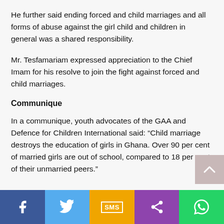He further said ending forced and child marriages and all forms of abuse against the girl child and children in general was a shared responsibility.
Mr. Tesfamariam expressed appreciation to the Chief Imam for his resolve to join the fight against forced and child marriages.
Communique
In a communique, youth advocates of the GAA and Defence for Children International said: “Child marriage destroys the education of girls in Ghana. Over 90 per cent of married girls are out of school, compared to 18 per cent of their unmarried peers.”
[Figure (infographic): Social sharing bar with Facebook, Twitter, SMS, Share, and WhatsApp buttons at the bottom of the page]